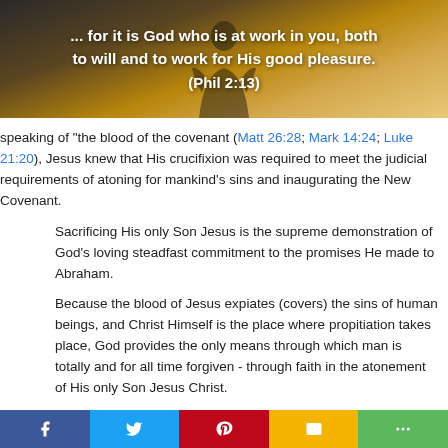[Figure (photo): Silhouette image with inspirational Bible quote text overlay on warm golden-brown background. Text reads: '... for it is God who is at work in you, both to will and to work for His good pleasure. (Phil 2:13)']
speaking of "the blood of the covenant (Matt 26:28; Mark 14:24; Luke 21:20), Jesus knew that His crucifixion was required to meet the judicial requirements of atoning for mankind's sins and inaugurating the New Covenant.
Sacrificing His only Son Jesus is the supreme demonstration of God's loving steadfast commitment to the promises He made to Abraham.
Because the blood of Jesus expiates (covers) the sins of human beings, and Christ Himself is the place where propitiation takes place, God provides the only means through which man is totally and for all time forgiven - through faith in the atonement of His only Son Jesus Christ.
It is precisely this aspect of the Mosaic Covenant that Jesus Christ fulfills.
Aware of His Father's desire that His people know His ways and the
Social share bar with Facebook, Twitter, Pinterest, Email, and More buttons